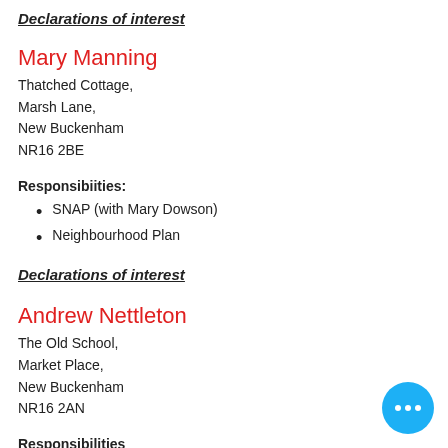Declarations of interest
Mary Manning
Thatched Cottage,
Marsh Lane,
New Buckenham
NR16 2BE
Responsibiities:
SNAP (with Mary Dowson)
Neighbourhood Plan
Declarations of interest
Andrew Nettleton
The Old School,
Market Place,
New Buckenham
NR16 2AN
Responsibilities